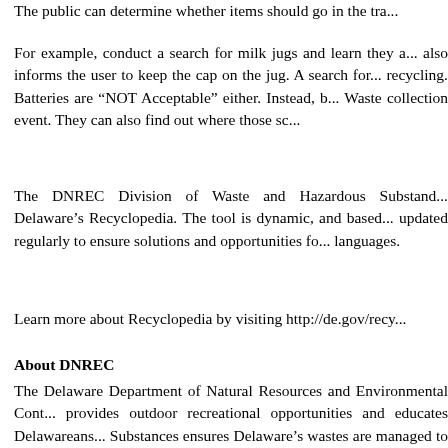The public can determine whether items should go in the tra...
For example, conduct a search for milk jugs and learn they a... also informs the user to keep the cap on the jug. A search for... recycling. Batteries are “NOT Acceptable” either. Instead, b... Waste collection event. They can also find out where those sc...
The DNREC Division of Waste and Hazardous Substand... Delaware’s Recyclopedia. The tool is dynamic, and based... updated regularly to ensure solutions and opportunities fo... languages.
Learn more about Recyclopedia by visiting http://de.gov/recy...
About DNREC
The Delaware Department of Natural Resources and Environmental Cont... provides outdoor recreational opportunities and educates Delawareans... Substances ensures Delaware’s wastes are managed to protect human life... and connect with @Delaware_DNREC on Facebook, Twitter, LinkedIn...